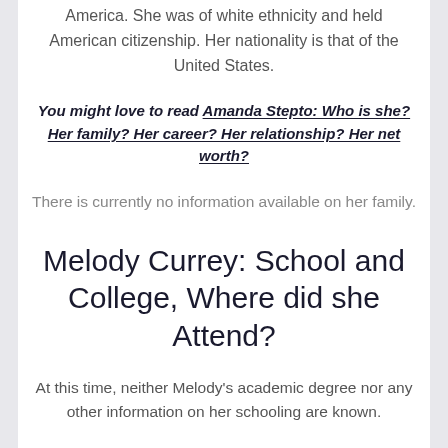America. She was of white ethnicity and held American citizenship. Her nationality is that of the United States.
You might love to read Amanda Stepto: Who is she? Her family? Her career? Her relationship? Her net worth?
There is currently no information available on her family.
Melody Currey: School and College, Where did she Attend?
At this time, neither Melody's academic degree nor any other information on her schooling are known.